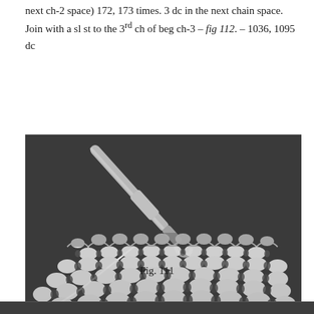next ch-2 space) 172, 173 times. 3 dc in the next chain space. Join with a sl st to the 3rd ch of beg ch-3 – fig 112. – 1036, 1095 dc
[Figure (photo): Close-up photograph of white crochet lace work on a dark grey background, with a silver crochet hook inserted at the top of the work. The lace shows an intricate fan/shell pattern with open spaces.]
Fig. 111